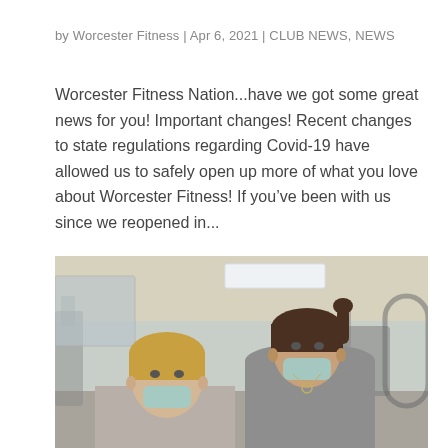by Worcester Fitness | Apr 6, 2021 | CLUB NEWS, NEWS
Worcester Fitness Nation...have we got some great news for you! Important changes! Recent changes to state regulations regarding Covid-19 have allowed us to safely open up more of what you love about Worcester Fitness! If you've been with us since we reopened in...
[Figure (photo): Two women wearing surgical face masks standing inside a gym with exercise equipment visible in the background.]